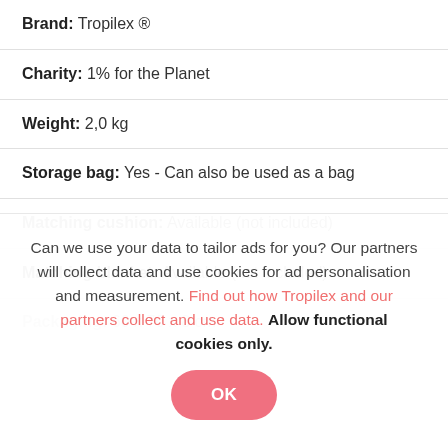Brand: Tropilex ®
Charity: 1% for the Planet
Weight: 2,0 kg
Storage bag: Yes - Can also be used as a bag
Matching cushion: Available (not included)
Matching blanket: Available (not included)
Packaging: 60 x 70 x 8 cm
Can we use your data to tailor ads for you? Our partners will collect data and use cookies for ad personalisation and measurement. Find out how Tropilex and our partners collect and use data. Allow functional cookies only.